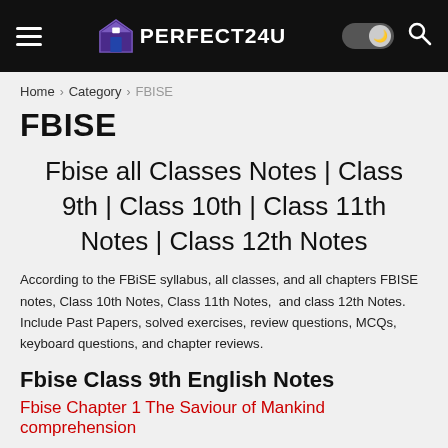PERFECT24U
Home › Category › FBISE
FBISE
Fbise all Classes Notes | Class 9th | Class 10th | Class 11th Notes | Class 12th Notes
According to the FBiSE syllabus, all classes, and all chapters FBISE notes, Class 10th Notes, Class 11th Notes,  and class 12th Notes. Include Past Papers, solved exercises, review questions, MCQs, keyboard questions, and chapter reviews.
Fbise Class 9th English Notes
Fbise Chapter 1 The Saviour of Mankind comprehension